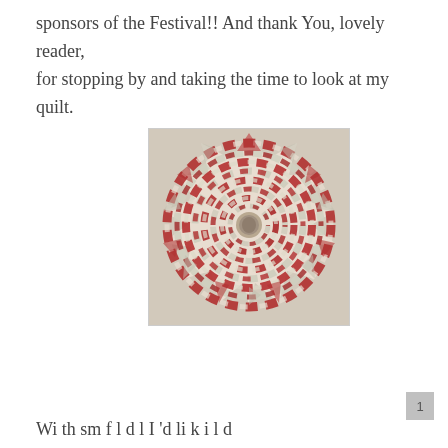sponsors of the Festival!! And thank You, lovely reader, for stopping by and taking the time to look at my quilt.
[Figure (photo): A circular star-shaped quilt with red and cream/white patchwork fabric arranged in a spiral pattern, photographed on a light background.]
Wi th sm f l d l I 'd li k i l d